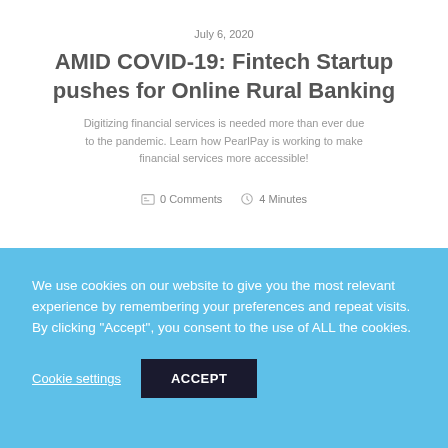July 6, 2020
AMID COVID-19: Fintech Startup pushes for Online Rural Banking
Digitizing financial services is needed more than ever due to the pandemic. Learn how PearlPay is working to make financial services more accessible!
0 Comments   4 Minutes
We use cookies on our website to give you the most relevant experience by remembering your preferences and repeat visits. By clicking “Accept”, you consent to the use of ALL the cookies.
Cookie settings
ACCEPT